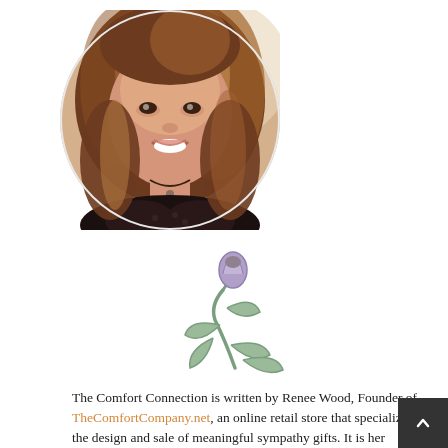[Figure (photo): Circular portrait photo of Renee Wood, a woman with long brown highlighted hair, smiling, wearing a patterned top and necklace]
[Figure (illustration): Small illustrated flower/plant icon with a purple bud, green stem and leaves — the logo for The Comfort Company]
The Comfort Connection is written by Renee Wood, Founder of TheComfortCompany.net, an online retail store that specializes in the design and sale of meaningful sympathy gifts. It is her...